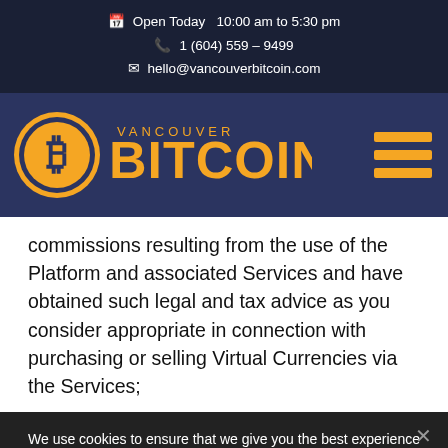Open Today  10:00 am to 5:30 pm
1 (604) 559 – 9499
hello@vancouverbitcoin.com
[Figure (logo): Vancouver Bitcoin logo with orange Bitcoin symbol and text, plus hamburger menu icon on dark navy background]
commissions resulting from the use of the Platform and associated Services and have obtained such legal and tax advice as you consider appropriate in connection with purchasing or selling Virtual Currencies via the Services;
We use cookies to ensure that we give you the best experience on our website. You can disable cookies at any time in your browsers settings.
Ok